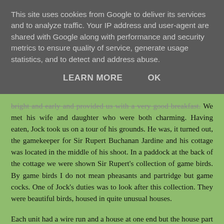This site uses cookies from Google to deliver its services and to analyze traffic. Your IP address and user-agent are shared with Google along with performance and security metrics to ensure quality of service, generate usage statistics, and to detect and address abuse.
LEARN MORE   OK
bright and early and provided us with a very good breakfast. We met his wife and daughter who were both charming. Having eaten, Jock took us on a tour of his grounds. He was, it turned out, the gamekeeper for Sir Rupert Buchanan Jardine and his cottage was located in the middle of his shoot. In a paddock at the back of the cottage we were shown Sir Rupert's collection of game birds. By game birds I do not mean pheasants and partridge but game cocks. One of Jock's duties was to look after this collection. They were beautiful birds, housed in quite unusual houses.
Each unit had a wire run and a house at one end but the house part of the structure was in the form of a tall tower. This, Jock told us, was to enable the birds to get up high for roosting purposes which, it appears, they favoured. Each unit housed a trio of two hens and a cock bird. I have no idea how many birds or units there were but